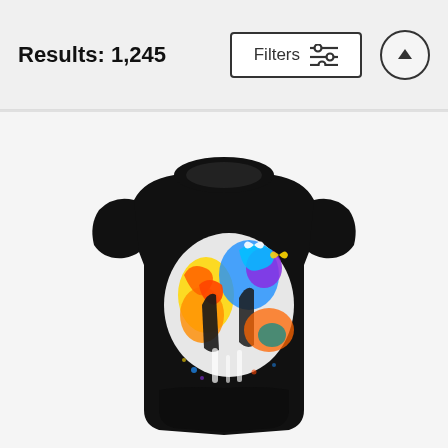Results: 1,245
[Figure (screenshot): Filters button with sliders icon and up-arrow circle button in header bar]
[Figure (photo): Black women's fitted t-shirt with colorful abstract paint splash graphic featuring butterflies and silhouettes in yellow, orange, red, blue, purple and white on a light gray background]